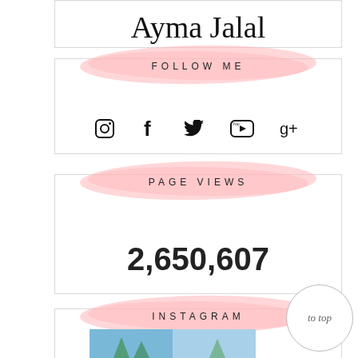[Figure (illustration): Cursive handwritten signature reading 'Ayma Jalal']
FOLLOW ME
[Figure (infographic): Social media icons row: Instagram camera, Facebook f, Twitter bird, YouTube play button, Google+ icon]
PAGE VIEWS
2,650,607
INSTAGRAM
[Figure (photo): Instagram photo thumbnails showing outdoor/nature scenes]
[Figure (illustration): Circle button with text 'to top']